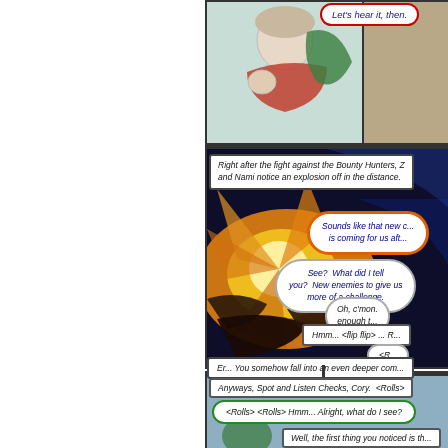[Figure (illustration): Comic page showing anime-style characters. Top panel: character with red scarf, right side tan/beige background. Second large panel: dramatic explosion scene in space/sky with orange/blue colors and multiple speech bubbles. Third panel: blue-tinted scene with speech bubbles.]
Let's hear it, then.
Right after the fight against the Bounty Hunters, Z and Nami notice an explosion off in the distance.
Sounds like that new c... is coming for us aft...
See? What did I tell you? New enemies to give us more of a challenge.
Oh, c'mon. ...enough t...
Hmm... <flip flip> ... R...
<R...
Er... You somehow fall into an even deeper com...
Anyways, Spot and Listen Checks, Cory. <Rolls>
<Rolls> <Rolls> Hmm... Alright, what do I see?
Well, the first thing you noticed is th...